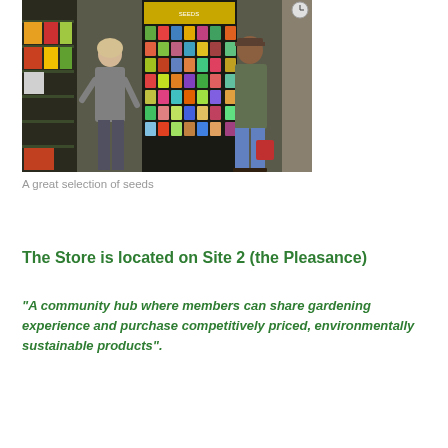[Figure (photo): Interior of a garden store showing two people browsing a large seed display rack with colourful seed packets, and shelves of gardening products in the background.]
A great selection of seeds
The Store is located on Site 2 (the Pleasance)
“A community hub where members can share gardening experience and purchase competitively priced, environmentally sustainable products”.